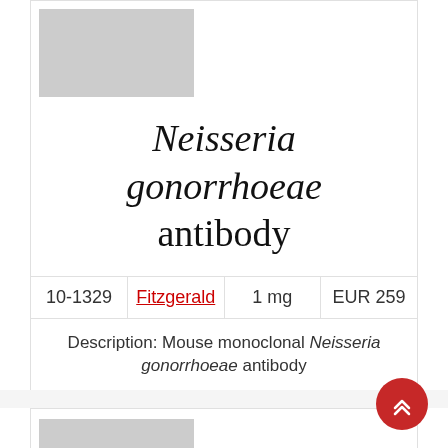[Figure (photo): Gray placeholder image for Neisseria gonorrhoeae antibody product (top, partially cut off)]
Neisseria gonorrhoeae antibody
| 10-1329 | Fitzgerald | 1 mg | EUR 259 |
| --- | --- | --- | --- |
| Description: Mouse monoclonal Neisseria gonorrhoeae antibody |
[Figure (photo): Gray placeholder image labeled 'Neisseria gonorrhoeae antibody']
Neisseria gonorrhoe...